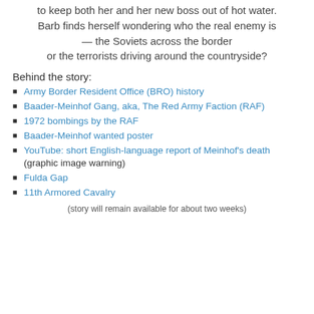to keep both her and her new boss out of hot water. Barb finds herself wondering who the real enemy is — the Soviets across the border or the terrorists driving around the countryside?
Behind the story:
Army Border Resident Office (BRO) history
Baader-Meinhof Gang, aka, The Red Army Faction (RAF)
1972 bombings by the RAF
Baader-Meinhof wanted poster
YouTube: short English-language report of Meinhof's death (graphic image warning)
Fulda Gap
11th Armored Cavalry
(story will remain available for about two weeks)